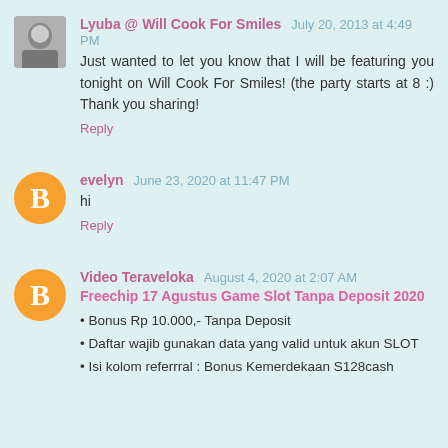Lyuba @ Will Cook For Smiles  July 20, 2013 at 4:49 PM
Just wanted to let you know that I will be featuring you tonight on Will Cook For Smiles! (the party starts at 8 :) Thank you sharing!
Reply
evelyn  June 23, 2020 at 11:47 PM
hi
Reply
Video Teraveloka  August 4, 2020 at 2:07 AM
Freechip 17 Agustus Game Slot Tanpa Deposit 2020
• Bonus Rp 10.000,- Tanpa Deposit
• Daftar wajib gunakan data yang valid untuk akun SLOT
• Isi kolom referrral : Bonus Kemerdekaan S128cash